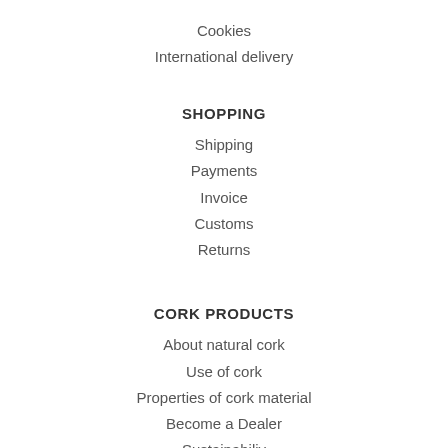Cookies
International delivery
SHOPPING
Shipping
Payments
Invoice
Customs
Returns
CORK PRODUCTS
About natural cork
Use of cork
Properties of cork material
Become a Dealer
Sustainabiliy